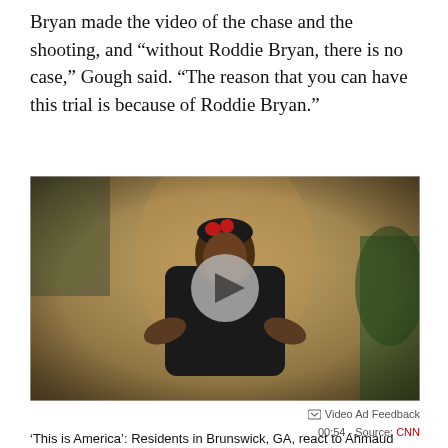Bryan made the video of the chase and the shooting, and “without Roddie Bryan, there is no case,” Gough said. “The reason that you can have this trial is because of Roddie Bryan.”
[Figure (photo): A woman in a black turtleneck top with hands on hips stands in front of a weathered yellow wall with trees, with a video play button overlay]
Video Ad Feedback
00:54 - Source: CNN
’This is America’: Residents in Brunswick, GA, react to Ahmaud Arbery case